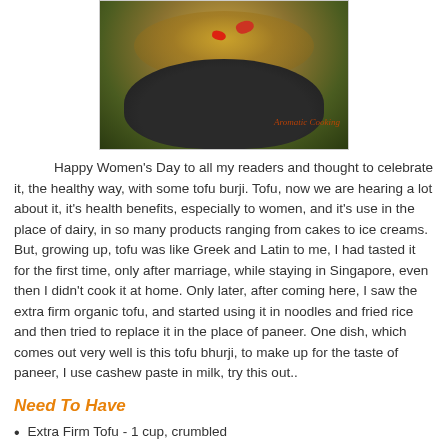[Figure (photo): A bowl of tofu burji with colorful vegetables including red peppers, garnished, on a patterned cloth. Watermark reads 'Aromatic Cooking'.]
Happy Women's Day to all my readers and thought to celebrate it, the healthy way, with some tofu burji. Tofu, now we are hearing a lot about it, it's health benefits, especially to women, and it's use in the place of dairy, in so many products ranging from cakes to ice creams. But, growing up, tofu was like Greek and Latin to me, I had tasted it for the first time, only after marriage, while staying in Singapore, even then I didn't cook it at home. Only later, after coming here, I saw the extra firm organic tofu, and started using it in noodles and fried rice and then tried to replace it in the place of paneer. One dish, which comes out very well is this tofu bhurji, to make up for the taste of paneer, I use cashew paste in milk, try this out..
Need To Have
Extra Firm Tofu - 1 cup, crumbled